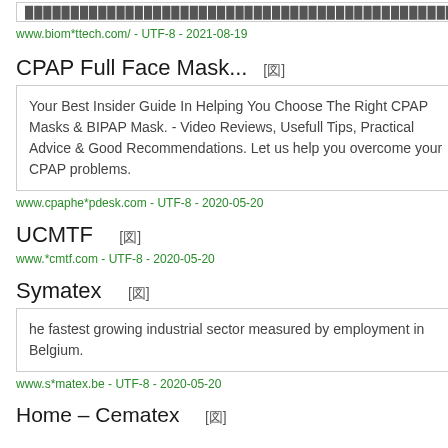… (truncated top snippet with dots)
www.biom*ttech.com/ - UTF-8 - 2021-08-19
CPAP Full Face Mask...  [图]
Your Best Insider Guide In Helping You Choose The Right CPAP Masks & BIPAP Mask. - Video Reviews, Usefull Tips, Practical Advice & Good Recommendations. Let us help you overcome your CPAP problems.
www.cpaphe*pdesk.com - UTF-8 - 2020-05-20
UCMTF  [图]
www.*cmtf.com - UTF-8 - 2020-05-20
Symatex  [图]
he fastest growing industrial sector measured by employment in Belgium.
www.s*matex.be - UTF-8 - 2020-05-20
Home – Cematex  [图]